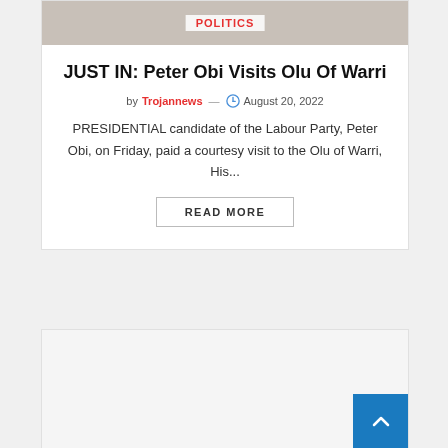[Figure (photo): Article card header image area with POLITICS category tag overlay]
JUST IN: Peter Obi Visits Olu Of Warri
by Trojannews — August 20, 2022
PRESIDENTIAL candidate of the Labour Party, Peter Obi, on Friday, paid a courtesy visit to the Olu of Warri, His...
READ MORE
[Figure (other): Second article card placeholder, partially visible at bottom of page]